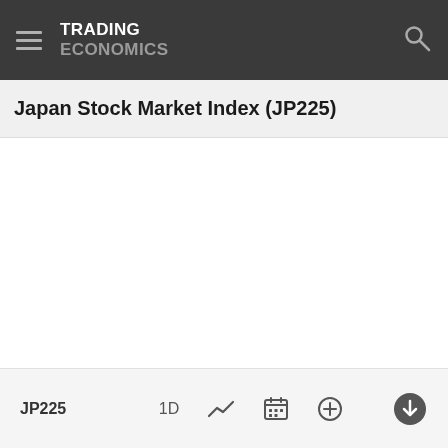TRADING ECONOMICS
Japan Stock Market Index (JP225)
[Figure (other): Empty white chart area for Japan Stock Market Index (JP225) — chart content not loaded]
JP225  1D  [line chart icon]  [calendar icon]  [plus icon]  [download icon]